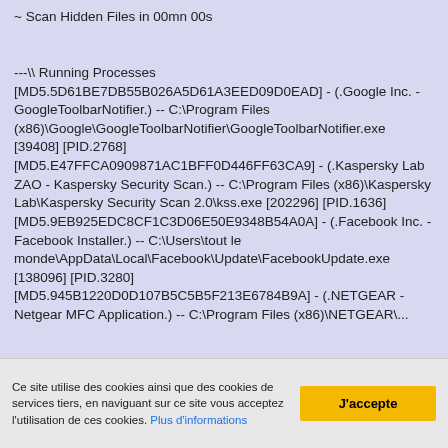~ Scan Hidden Files in 00mn 00s

---\\ Running Processes
[MD5.5D61BE7DB55B026A5D61A3EED09D0EAD] - (.Google Inc. - GoogleToolbarNotifier.) -- C:\Program Files (x86)\Google\GoogleToolbarNotifier\GoogleToolbarNotifier.exe [39408] [PID.2768]
[MD5.E47FFCA0909871AC1BFF0D446FF63CA9] - (.Kaspersky Lab ZAO - Kaspersky Security Scan.) -- C:\Program Files (x86)\Kaspersky Lab\Kaspersky Security Scan 2.0\kss.exe [202296] [PID.1636]
[MD5.9EB925EDC8CF1C3D06E50E9348B54A0A] - (.Facebook Inc. - Facebook Installer.) -- C:\Users\tout le monde\AppData\Local\Facebook\Update\FacebookUpdate.exe [138096] [PID.3280]
[MD5.945B1220D0D107B5C5B5F213E6784B9A] - (.NETGEAR - Netgear MFC Application.) -- C:\Program Files (x86)\NETGEAR\...
Ce site utilise des cookies ainsi que des cookies de services tiers, en naviguant sur ce site vous acceptez l'utilisation de ces cookies. Plus d'informations